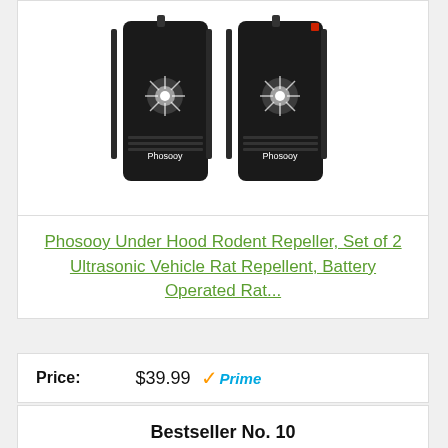[Figure (photo): Two Phosooy ultrasonic rodent repeller devices side by side, black rectangular devices with LED lights and Phosooy branding]
Phosooy Under Hood Rodent Repeller, Set of 2 Ultrasonic Vehicle Rat Repellent, Battery Operated Rat...
Price: $39.99 Prime
Buy On Amazon
Bestseller No. 10